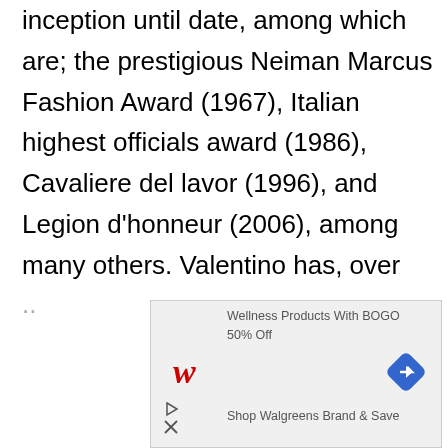Valentino has received many awards since its inception until date, among which are; the prestigious Neiman Marcus Fashion Award (1967), Italian highest officials award (1986), Cavaliere del lavor (1996), and Legion d'honneur (2006), among many others. Valentino has, over the years, made a strong imprint in the world of fashion, especially in Italy. He was even once referred to as the pinnacle of
[Figure (other): Advertisement overlay for Walgreens showing wellness products with BOGO 50% Off promotion, Walgreens logo in red italic, a blue navigation arrow icon, play and close icons, and text 'Shop Walgreens Brand & Save']